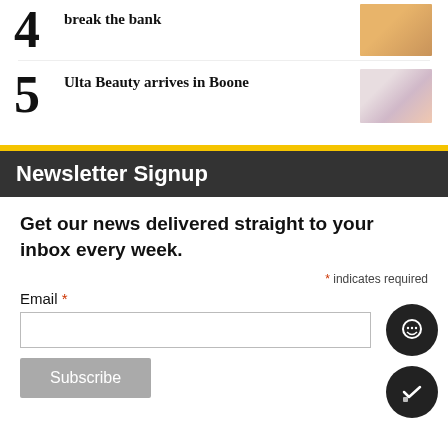4 break the bank
5 Ulta Beauty arrives in Boone
Newsletter Signup
Get our news delivered straight to your inbox every week.
* indicates required
Email *
Subscribe